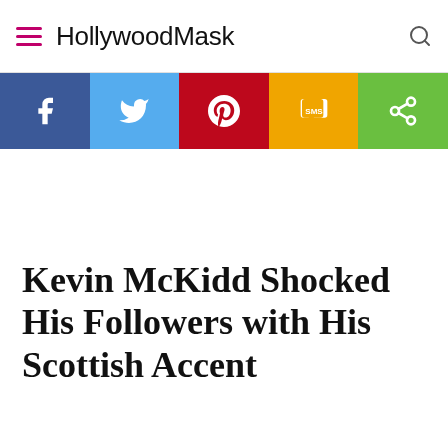HollywoodMask
[Figure (infographic): Social sharing bar with Facebook, Twitter, Pinterest, SMS, and Share buttons]
Kevin McKidd Shocked His Followers with His Scottish Accent